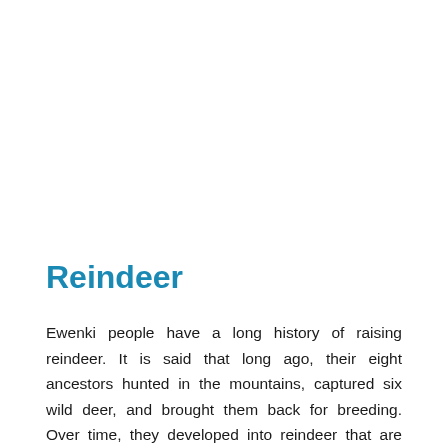Reindeer
Ewenki people have a long history of raising reindeer. It is said that long ago, their eight ancestors hunted in the mountains, captured six wild deer, and brought them back for breeding. Over time, they developed into reindeer that are now artificially raised. According to relevant